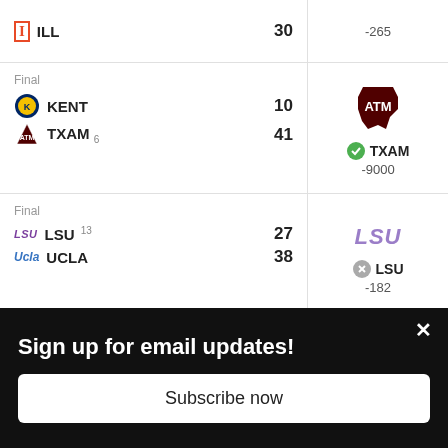| Team | Score | Pick/Odds |
| --- | --- | --- |
| ILL | 30 | -265 |
| Final | KENT 10 / TXAM 6 41 |  | TXAM -9000 |
| Final | LSU 13 27 / UCLA 38 |  | LSU -182 |
| Final | BYU 24 |  | BYU |
Sign up for email updates!
Subscribe now